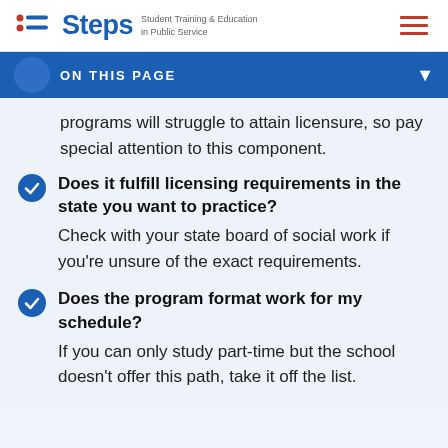Steps — Student Training & Education in Public Service
ON THIS PAGE
programs will struggle to attain licensure, so pay special attention to this component.
Does it fulfill licensing requirements in the state you want to practice? Check with your state board of social work if you're unsure of the exact requirements.
Does the program format work for my schedule? If you can only study part-time but the school doesn't offer this path, take it off the list.